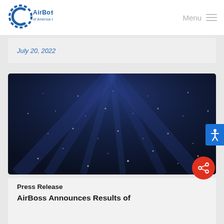[Figure (logo): AirBoss of America Corp. logo — circular dashed ring with stylized C and 'AirBoss of America Corp.' text]
Menu
July 20, 2022
[Figure (photo): Dark navy blue background with scattered white dots/particles and diagonal light rays, abstract technology banner image]
Press Release
AirBoss Announces Results of